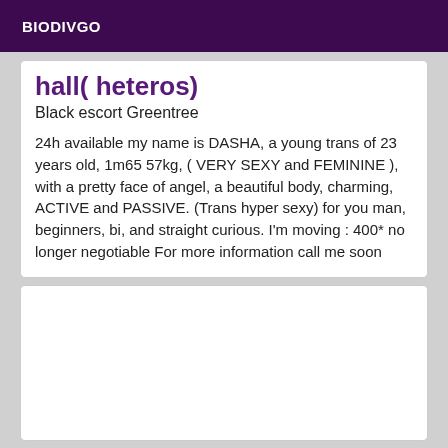BIODIVGO
hall( heteros)
Black escort Greentree
24h available my name is DASHA, a young trans of 23 years old, 1m65 57kg, ( VERY SEXY and FEMININE ), with a pretty face of angel, a beautiful body, charming, ACTIVE and PASSIVE. (Trans hyper sexy) for you man, beginners, bi, and straight curious. I'm moving : 400* no longer negotiable For more information call me soon
[Figure (other): Empty white card placeholder]